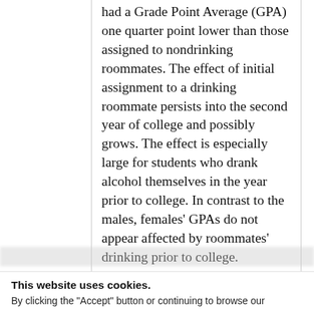had a Grade Point Average (GPA) one quarter point lower than those assigned to nondrinking roommates. The effect of initial assignment to a drinking roommate persists into the second year of college and possibly grows. The effect is especially large for students who drank alcohol themselves in the year prior to college. In contrast to the males, females' GPAs do not appear affected by roommates' drinking prior to college. Furthermore, students' college GPA is not significantly affected by roommates' high school grades, admission test scores, or family background. These findings are more consistent with models in which peers change people's preferences than with models in which peers change people's choice
This website uses cookies.
By clicking the "Accept" button or continuing to browse our